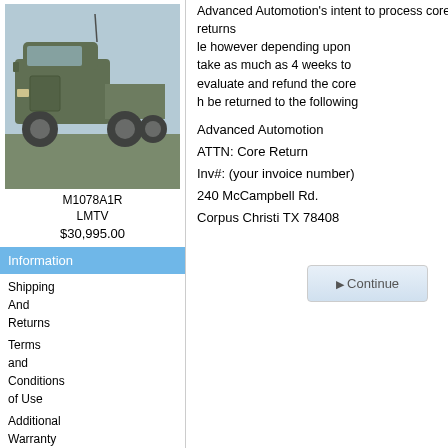[Figure (photo): Military green M1078A1R LMTV truck photo]
M1078A1R LMTV
$30,995.00
Information
Shipping And Returns
Terms and Conditions of Use
Additional Warranty Information
Core Return Policy
Contact Us
Advanced Automotion's intent to process core returns le however depending upon take as much as 4 weeks to evaluate and refund the core h be returned to the following
Advanced Automotion
ATTN: Core Return
Inv#: (your invoice number)
240 McCampbell Rd.
Corpus Christi TX 78408
Continue